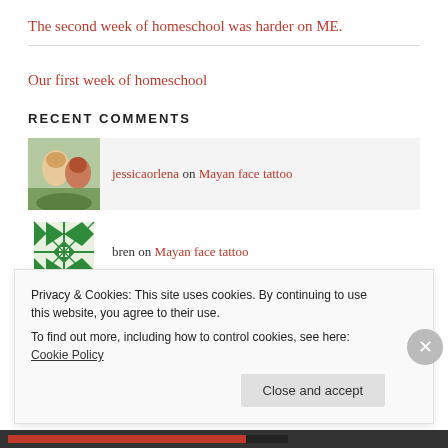The second week of homeschool was harder on ME.
Our first week of homeschool
RECENT COMMENTS
jessicaorlena on Mayan face tattoo
bren on Mayan face tattoo
Privacy & Cookies: This site uses cookies. By continuing to use this website, you agree to their use.
To find out more, including how to control cookies, see here: Cookie Policy
Close and accept